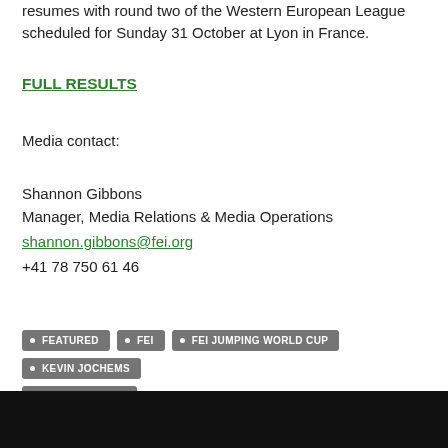resumes with round two of the Western European League scheduled for Sunday 31 October at Lyon in France.
FULL RESULTS
Media contact:
Shannon Gibbons
Manager, Media Relations & Media Operations
shannon.gibbons@fei.org
+41 78 750 61 46
FEATURED
FEI
FEI JUMPING WORLD CUP
KEVIN JOCHEMS
SHOW JUMPING